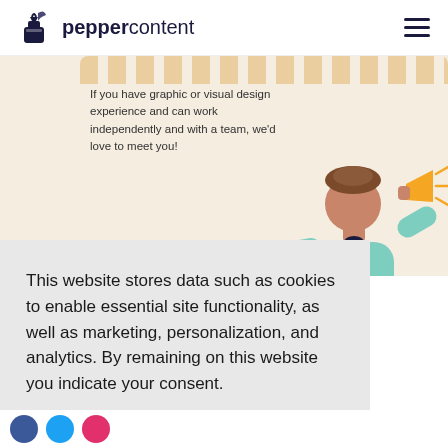peppercontent
[Figure (infographic): Illustration of a person with a megaphone and a beige/cream background with partial heading text visible at top. Text reads: 'If you have graphic or visual design experience and can work independently and with a team, we'd love to meet you!']
This website stores data such as cookies to enable essential site functionality, as well as marketing, personalization, and analytics. By remaining on this website you indicate your consent.
Cookie Policy